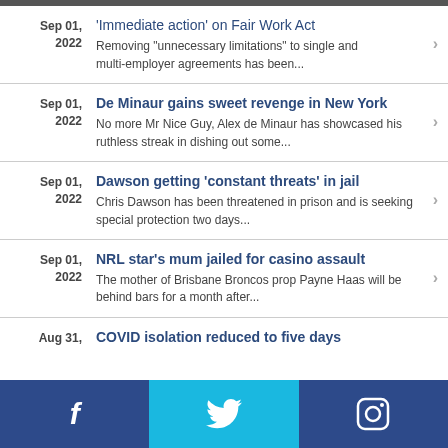Sep 01, 2022 — 'Immediate action' on Fair Work Act. Removing "unnecessary limitations" to single and multi-employer agreements has been...
Sep 01, 2022 — De Minaur gains sweet revenge in New York. No more Mr Nice Guy, Alex de Minaur has showcased his ruthless streak in dishing out some...
Sep 01, 2022 — Dawson getting 'constant threats' in jail. Chris Dawson has been threatened in prison and is seeking special protection two days...
Sep 01, 2022 — NRL star's mum jailed for casino assault. The mother of Brisbane Broncos prop Payne Haas will be behind bars for a month after...
Aug 31, — COVID isolation reduced to five days
Facebook | Twitter | Instagram